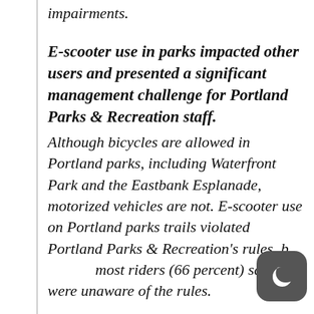impairments.
E-scooter use in parks impacted other users and presented a significant management challenge for Portland Parks & Recreation staff.
Although bicycles are allowed in Portland parks, including Waterfront Park and the Eastbank Esplanade, motorized vehicles are not. E-scooter use on Portland parks trails violated Portland Parks & Recreation's rules, but most riders (66 percent) said they were unaware of the rules.